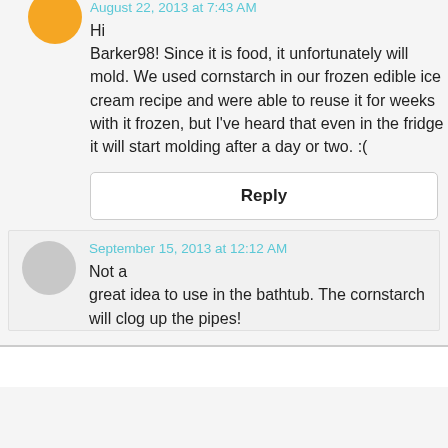August 22, 2013 at 7:43 AM
Hi Barker98! Since it is food, it unfortunately will mold. We used cornstarch in our frozen edible ice cream recipe and were able to reuse it for weeks with it frozen, but I've heard that even in the fridge it will start molding after a day or two. :(
Reply
September 15, 2013 at 12:12 AM
Not a great idea to use in the bathtub. The cornstarch will clog up the pipes!